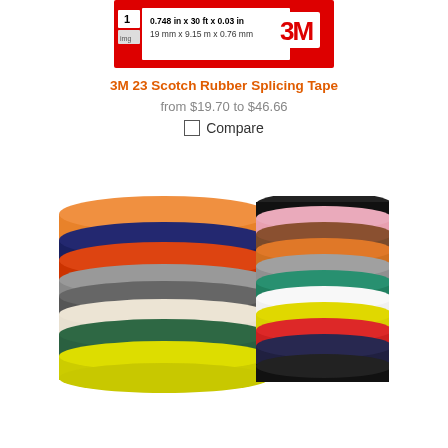[Figure (photo): 3M branded red tape box/packaging showing dimensions: 0.748 in x 30 ft x 0.03 in / 19 mm x 9.15 m x 0.76 mm with 3M logo]
3M 23 Scotch Rubber Splicing Tape
from $19.70 to $46.66
Compare
[Figure (photo): Two stacks of colorful electrical tape rolls in various colors including orange, gray, white, green, yellow, navy, red, black, pink, brown, teal, and more]